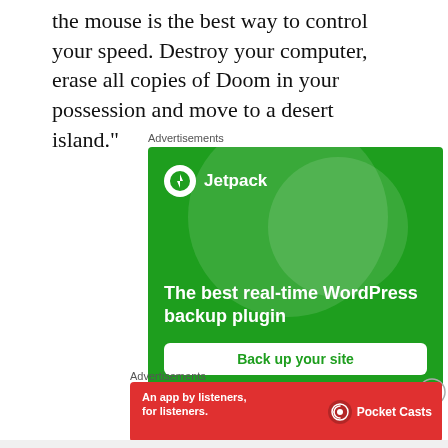the mouse is the best way to control your speed. Destroy your computer, erase all copies of Doom in your possession and move to a desert island."
Advertisements
[Figure (infographic): Jetpack advertisement: green background with decorative circles, Jetpack logo and bolt icon, tagline 'The best real-time WordPress backup plugin', and a 'Back up your site' button]
[Figure (infographic): Pocket Casts advertisement: red background with text 'An app by listeners, for listeners.' and Pocket Casts logo on right]
Advertisements